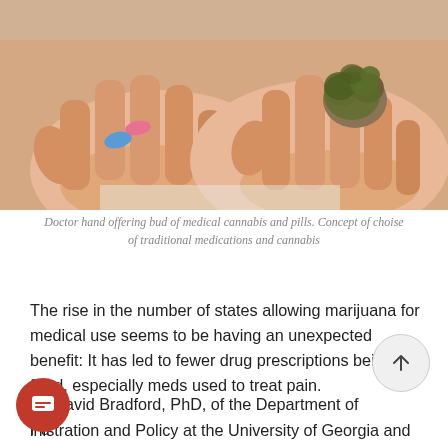[Figure (photo): Close-up photo of two hands outstretched, one holding blue and pink pills, the other holding a cannabis bud. Person is wearing a white coat suggesting a doctor.]
Doctor hand offering bud of medical cannabis and pills. Concept of choise of traditional medications and cannabis
The rise in the number of states allowing marijuana for medical use seems to be having an unexpected benefit: It has led to fewer drug prescriptions being filled, especially meds used to treat pain.
W. David Bradford, PhD, of the Department of Public Administration and Policy at the University of Georgia and his daughter, Ashley C. Bradford, a graduate student in the